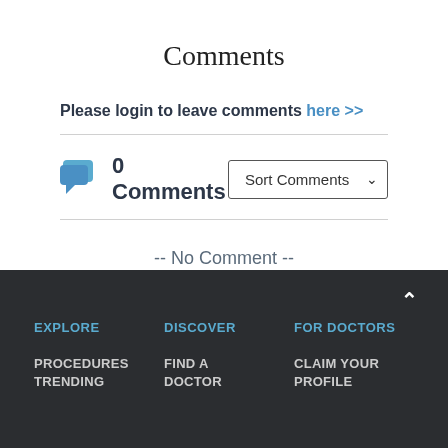Comments
Please login to leave comments here >>
0 Comments
-- No Comment --
EXPLORE  DISCOVER  FOR DOCTORS
PROCEDURES  FIND A DOCTOR  CLAIM YOUR PROFILE
TRENDING